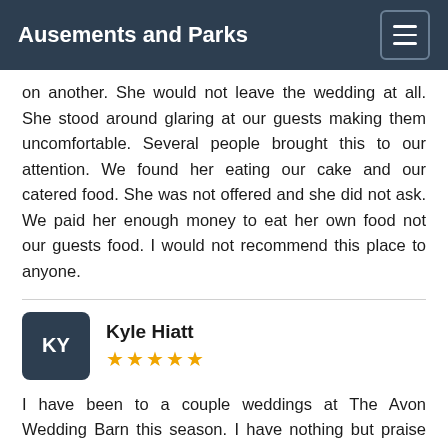Ausements and Parks
on another. She would not leave the wedding at all. She stood around glaring at our guests making them uncomfortable. Several people brought this to our attention. We found her eating our cake and our catered food. She was not offered and she did not ask. We paid her enough money to eat her own food not our guests food. I would not recommend this place to anyone.
Kyle Hiatt ★★★★★
I have been to a couple weddings at The Avon Wedding Barn this season. I have nothing but praise for the staff and the facility. I have had conversation with the owners on a few occasions and they are as generous and caring as can be. Anyone that says different is just a grouchy grump